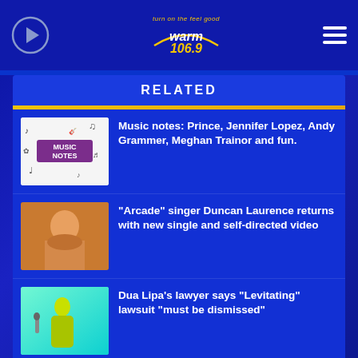warm 106.9 — turn on the feel good
RELATED
[Figure (photo): Music Notes thumbnail with purple label on white background with musical symbols]
Music notes: Prince, Jennifer Lopez, Andy Grammer, Meghan Trainor and fun.
[Figure (photo): Warm amber-toned thumbnail of Duncan Laurence singer]
"Arcade" singer Duncan Laurence returns with new single and self-directed video
[Figure (photo): Teal/cyan thumbnail of Dua Lipa performing with microphone in yellow-green outfit]
Dua Lipa's lawyer says "Levitating" lawsuit "must be dismissed"